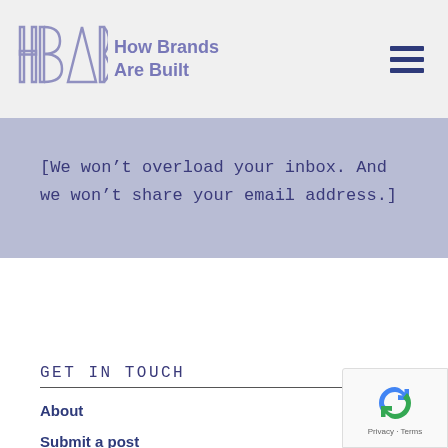How Brands Are Built
[We won't overload your inbox. And we won't share your email address.]
GET IN TOUCH
About
Submit a post